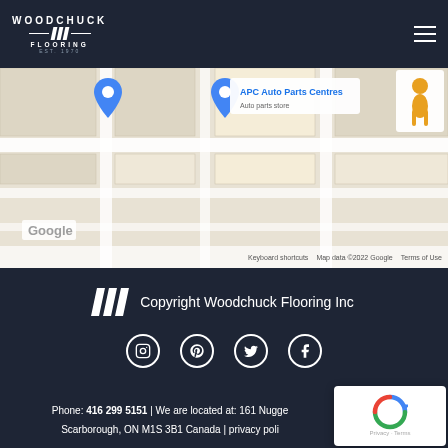Ideal Stairs – Staircase Design and Renovation
[Figure (map): Google Maps screenshot showing location near APC Auto Parts Centres, with map controls, Google logo, keyboard shortcuts footer, and a street view person icon. Map data ©2022 Google.]
Copyright Woodchuck Flooring Inc
[Figure (infographic): Social media icons row: Instagram, Pinterest, Twitter, Facebook — white circle icons on dark background]
Phone: 416 299 5151 | We are located at: 161 Nugge… Scarborough, ON M1S 3B1 Canada | privacy poli…